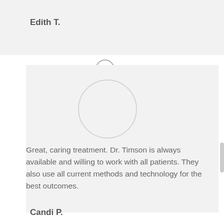Edith T.
[Figure (illustration): Circular quotation mark icon with closing double quotes, followed by a circular avatar placeholder]
Great, caring treatment. Dr. Timson is always available and willing to work with all patients. They also use all current methods and technology for the best outcomes.
Candi P.